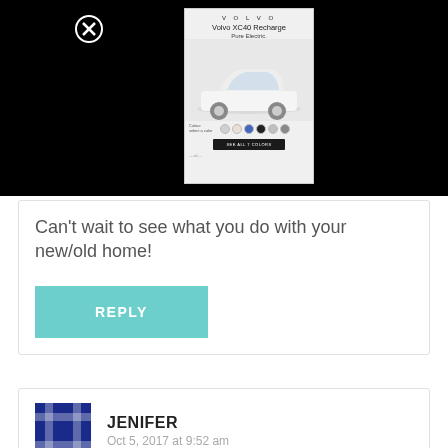[Figure (screenshot): Black background with a Volvo XC40 Recharge advertisement showing the car and color swatches, with a close button in the top left]
Can't wait to see what you do with your new/old home!
REPLY
JENIFER
Oct 5, 2017 at 9:52 am
Good Morning! My mom is a bummer, I don't